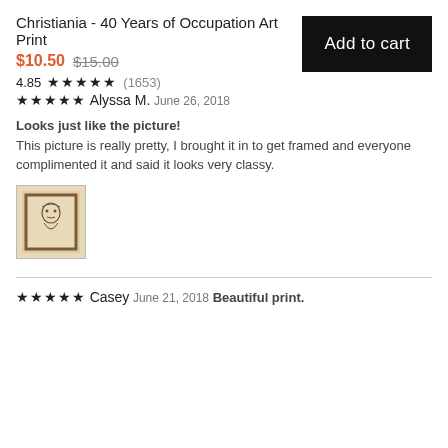Christiania - 40 Years of Occupation Art Print
$10.50 $15.00
4.85 ★★★★★ (1653)
Add to cart
★★★★★
Alyssa M.
June 26, 2018
Looks just like the picture!
This picture is really pretty, I brought it in to get framed and everyone complimented it and said it looks very classy.
[Figure (photo): Small thumbnail of framed art print showing a portrait sketch in a dark frame against a beige background]
★★★★★
Casey
June 21, 2018
Beautiful print.